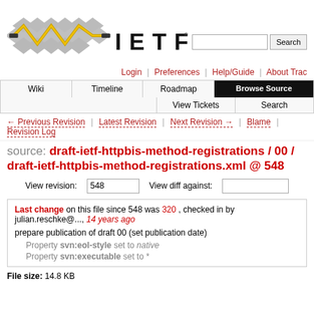[Figure (logo): IETF logo with diamond pattern graphic and IETF text with registered trademark]
Login | Preferences | Help/Guide | About Trac
Wiki | Timeline | Roadmap | Browse Source | View Tickets | Search
← Previous Revision | Latest Revision | Next Revision → | Blame | Revision Log
source: draft-ietf-httpbis-method-registrations / 00 / draft-ietf-httpbis-method-registrations.xml @ 548
View revision: 548    View diff against:
Last change on this file since 548 was 320, checked in by julian.reschke@..., 14 years ago
prepare publication of draft 00 (set publication date)
Property svn:eol-style set to native
Property svn:executable set to *
File size: 14.8 KB